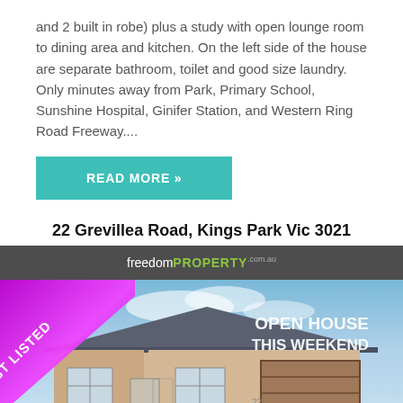and 2 built in robe) plus a study with open lounge room to dining area and kitchen. On the left side of the house are separate bathroom, toilet and good size laundry. Only minutes away from Park, Primary School, Sunshine Hospital, Ginifer Station, and Western Ring Road Freeway....
READ MORE »
22 Grevillea Road, Kings Park Vic 3021
[Figure (photo): Property listing photo for 22 Grevillea Road, Kings Park Vic 3021. Shows a single-storey house with cream/beige rendered walls and grey roof. A purple 'JUST LISTED' ribbon banner is on the top-left corner. White text 'OPEN HOUSE THIS WEEKEND' appears on the top-right. The freedomPROPERTY logo is shown on a dark grey banner above the house photo.]